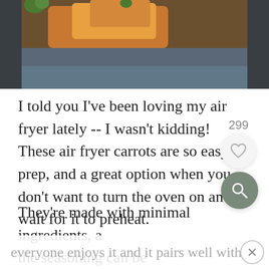[Figure (photo): Partial food photo showing roasted carrots on a dark plate, cropped at top]
I told you I've been loving my air fryer lately -- I wasn't kidding! These air fryer carrots are so easy to prep, and a great option when you don't want to turn the oven on and/or wait for it to preheat.
They're made with minimal ingredients, and the seasoning can be customized to your liking. I love using garlic because nearly
everyone enjoys it and it pairs well with